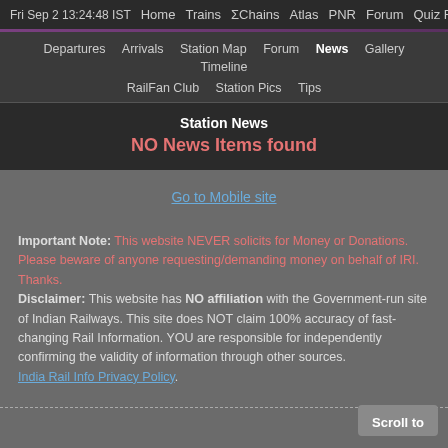Fri Sep 2 13:24:48 IST   Home   Trains   ΣChains   Atlas   PNR   Forum   Quiz Fee
Departures  Arrivals  Station Map  Forum  News  Gallery  Timeline  RailFan Club  Station Pics  Tips
Station News
NO News Items found
Go to Mobile site
Important Note: This website NEVER solicits for Money or Donations. Please beware of anyone requesting/demanding money on behalf of IRI. Thanks.
Disclaimer: This website has NO affiliation with the Government-run site of Indian Railways. This site does NOT claim 100% accuracy of fast-changing Rail Information. YOU are responsible for independently confirming the validity of information through other sources.
India Rail Info Privacy Policy.
Scroll to